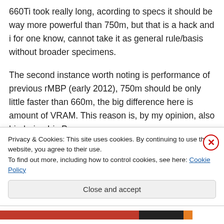660Ti took really long, acording to specs it should be way more powerful than 750m, but that is a hack and i for one know, cannot take it as general rule/basis without broader specimens.
The second instance worth noting is performance of previous rMBP (early 2012), 750m should be only little faster than 660m, the big difference here is amount of VRAM. This reason is, by my opinion, also hindering Iris Pro
Privacy & Cookies: This site uses cookies. By continuing to use this website, you agree to their use.
To find out more, including how to control cookies, see here: Cookie Policy